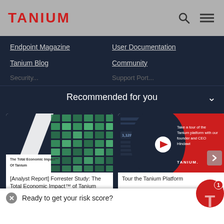[Figure (logo): TANIUM logo in red bold text on grey header bar with search and menu icons]
Endpoint Magazine
User Documentation
Tanium Blog
Community
Recommended for you
[Figure (screenshot): Card showing The Total Economic Impact Of Tanium report cover with green building grid graphic]
[Analyst Report] Forrester Study: The Total Economic Impact™ of Tanium
[Figure (screenshot): Card showing Tour the Tanium Platform video thumbnail with red background and play button]
Tour the Tanium Platform
Ready to get your risk score?